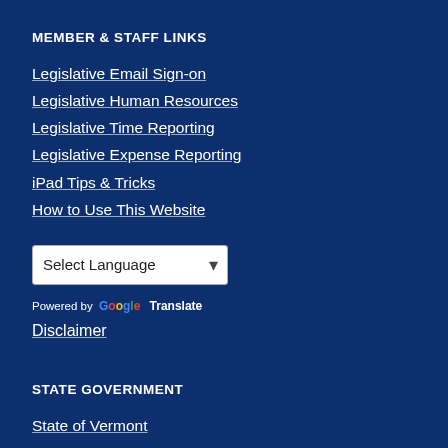MEMBER & STAFF LINKS
Legislative Email Sign-on
Legislative Human Resources
Legislative Time Reporting
Legislative Expense Reporting
iPad Tips & Tricks
How to Use This Website
Select Language (dropdown)
Powered by Google Translate
Disclaimer
STATE GOVERNMENT
State of Vermont
Governor
Lieutenant Governor
Attorney General